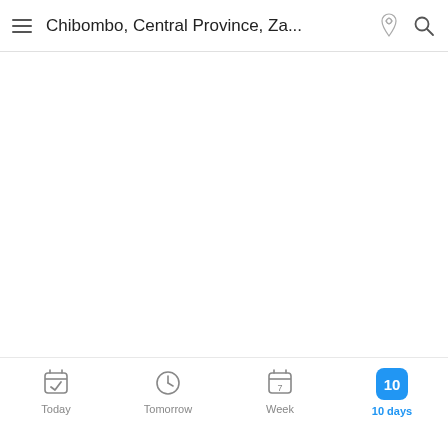Chibombo, Central Province, Za...
[Figure (screenshot): Weather app screenshot showing a mostly blank white map area for Chibombo, Central Province, Zambia, with a light gray content section below, and a bottom navigation tab bar with Today, Tomorrow, Week, and 10 days tabs.]
Today  Tomorrow  Week  10 days